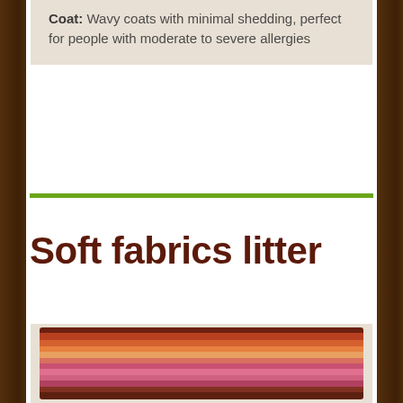Coat: Wavy coats with minimal shedding, perfect for people with moderate to severe allergies
Soft fabrics litter
[Figure (photo): Rolled colorful striped fabric with warm tones of red, orange, pink, brown stripes]